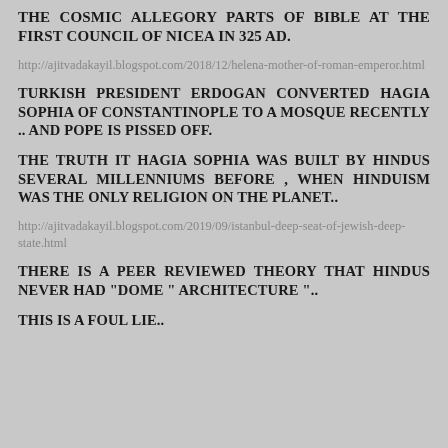THE COSMIC ALLEGORY PARTS OF BIBLE AT THE FIRST COUNCIL OF NICEA IN 325 AD.
http://ajitvadakayil.blogspot.com/2018/12/helena-mother-of-roman-emperor.html
TURKISH PRESIDENT ERDOGAN CONVERTED HAGIA SOPHIA OF CONSTANTINOPLE TO A MOSQUE RECENTLY .. AND POPE IS PISSED OFF.
THE TRUTH IT HAGIA SOPHIA WAS BUILT BY HINDUS SEVERAL MILLENNIUMS BEFORE , WHEN HINDUISM WAS THE ONLY RELIGION ON THE PLANET..
http://ajitvadakayil.blogspot.com/2019/09/istanbul-deep-seat-of-jewish-deep-state.html
THERE IS A PEER REVIEWED THEORY THAT HINDUS NEVER HAD "DOME " ARCHITECTURE "..
THIS IS A FOUL LIE..